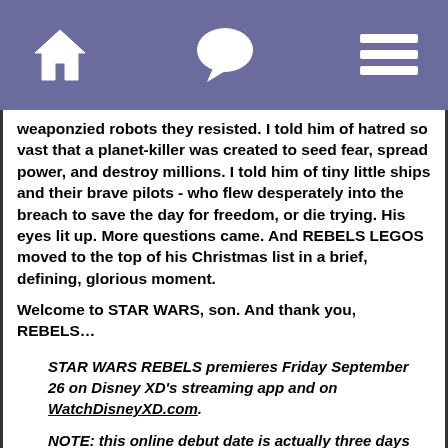[Navigation bar with home, chat, and menu icons]
weaponzied robots they resisted.  I told him of hatred so vast that a planet-killer was created to seed fear, spread power, and destroy millions.  I told him of tiny little ships and their brave pilots - who flew desperately into the breach to save the day for freedom, or die trying.  His eyes lit up.  More questions came.  And REBELS LEGOS moved to the top of his Christmas list in a brief, defining, glorious moment.
Welcome to STAR WARS, son.  And thank you, REBELS...
STAR WARS REBELS premieres Friday September 26 on Disney XD's streaming app and on WatchDisneyXD.com.
NOTE:  this online debut date is actually three days earlier than previous announced. The show's television bow on global Disney Channels will...